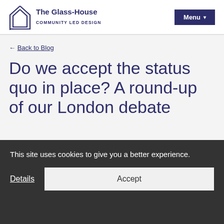The Glass-House COMMUNITY LED DESIGN | Menu
← Back to Blog
Do we accept the status quo in place? A round-up of our London debate
This site uses cookies to give you a better experience.
Details | Accept